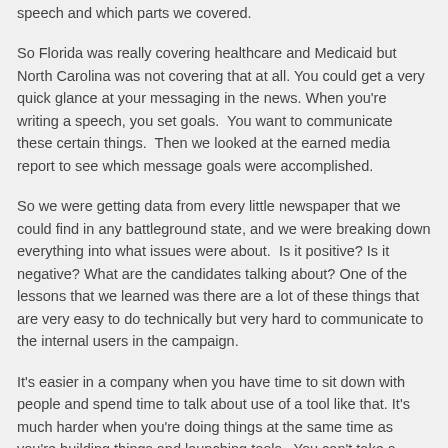speech and which parts we covered.
So Florida was really covering healthcare and Medicaid but North Carolina was not covering that at all. You could get a very quick glance at your messaging in the news. When you're writing a speech, you set goals.  You want to communicate these certain things.  Then we looked at the earned media report to see which message goals were accomplished.
So we were getting data from every little newspaper that we could find in any battleground state, and we were breaking down everything into what issues were about.  Is it positive? Is it negative? What are the candidates talking about? One of the lessons that we learned was there are a lot of these things that are very easy to do technically but very hard to communicate to the internal users in the campaign.
It's easier in a company when you have time to sit down with people and spend time to talk about use of a tool like that. It's much harder when you're doing things at the same time as you're building things and launching tools.  You can't take a break and say, "Let's just now sit down and figure out what the best way of doing this is." It's really critical